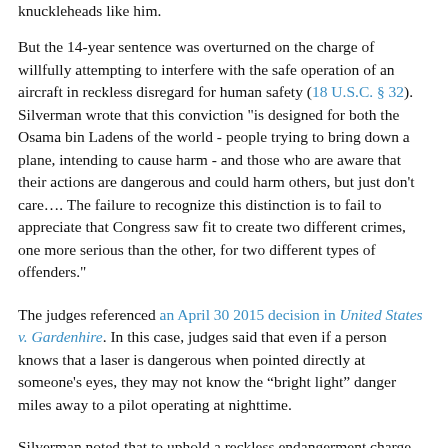knuckleheads like him.
But the 14-year sentence was overturned on the charge of willfully attempting to interfere with the safe operation of an aircraft in reckless disregard for human safety (18 U.S.C. § 32). Silverman wrote that this conviction "is designed for both the Osama bin Ladens of the world - people trying to bring down a plane, intending to cause harm - and those who are aware that their actions are dangerous and could harm others, but just don't care…. The failure to recognize this distinction is to fail to appreciate that Congress saw fit to create two different crimes, one more serious than the other, for two different types of offenders."
The judges referenced an April 30 2015 decision in United States v. Gardenhire. In this case, judges said that even if a person knows that a laser is dangerous when pointed directly at someone's eyes, they may not know the "bright light" danger miles away to a pilot operating at nighttime.
Silverman noted that to uphold a reckless endangerment charge, prosecutors would have to show that "similarly situated defendants, or even average people, understand